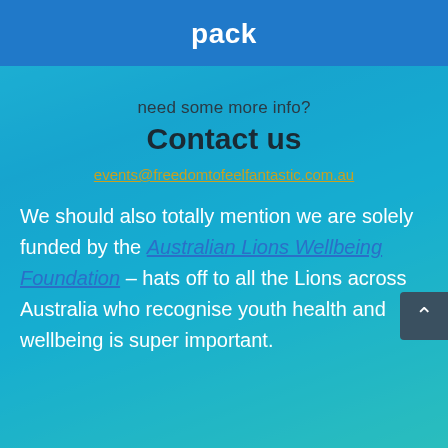pack
need some more info?
Contact us
events@freedomtofeelfantastic.com.au
We should also totally mention we are solely funded by the Australian Lions Wellbeing Foundation – hats off to all the Lions across Australia who recognise youth health and wellbeing is super important.